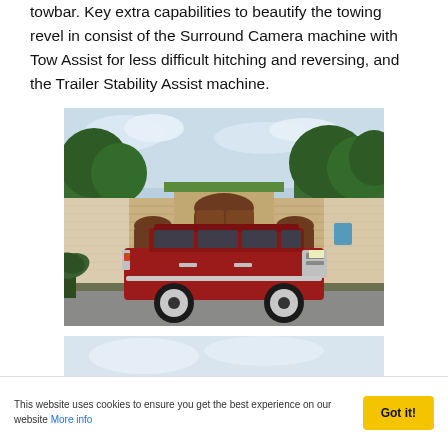towbar. Key extra capabilities to beautify the towing revel in consist of the Surround Camera machine with Tow Assist for less difficult hitching and reversing, and the Trailer Stability Assist machine.
[Figure (photo): A red Range Rover SUV parked in front of a Moroccan-style building with ornate brick facade, arched wooden doors, and trees in the background.]
[Figure (photo): Partial view of a vehicle roof against a light sky background, cropped at the bottom of the page.]
This website uses cookies to ensure you get the best experience on our website More info